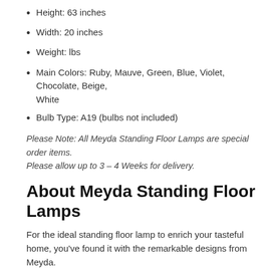Height: 63 inches
Width: 20 inches
Weight: lbs
Main Colors: Ruby, Mauve, Green, Blue, Violet, Chocolate, Beige, White
Bulb Type: A19 (bulbs not included)
Please Note: All Meyda Standing Floor Lamps are special order items. Please allow up to 3 – 4 Weeks for delivery.
About Meyda Standing Floor Lamps
For the ideal standing floor lamp to enrich your tasteful home, you've found it with the remarkable designs from Meyda.
Meyda Lighting creates stained glass table lamps, custom mica chandeliers, decorative stained glass windows, and more. Art & Home is proud to offer their astonishing line of lighting & stained glass products.
The Renaissance Rose Stained Glass Floor Lamp Floor Lamp is a truly